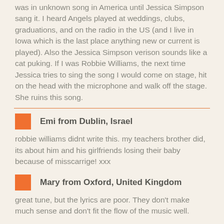was in unknown song in America until Jessica Simpson sang it. I heard Angels played at weddings, clubs, graduations, and on the radio in the US (and I live in Iowa which is the last place anything new or current is played). Also the Jessica Simpson verison sounds like a cat puking. If I was Robbie Williams, the next time Jessica tries to sing the song I would come on stage, hit on the head with the microphone and walk off the stage. She ruins this song.
Emi from Dublin, Israel
robbie williams didnt write this. my teachers brother did, its about him and his girlfriends losing their baby because of misscarrige! xxx
Mary from Oxford, United Kingdom
great tune, but the lyrics are poor. They don't make much sense and don't fit the flow of the music well.